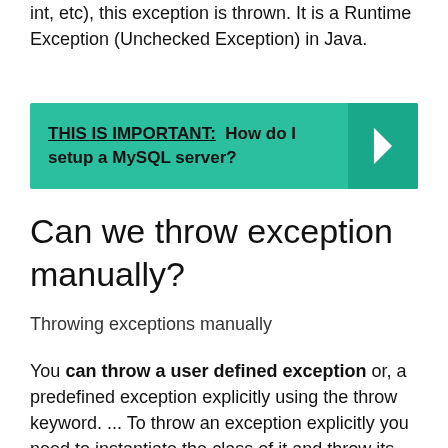int, etc), this exception is thrown. It is a Runtime Exception (Unchecked Exception) in Java.
[Figure (infographic): Teal banner with text 'THIS IS IMPORTANT: How do I setup a MySQL server?' and a right-arrow chevron on the right side.]
Can we throw exception manually?
Throwing exceptions manually
You can throw a user defined exception or, a predefined exception explicitly using the throw keyword. ... To throw an exception explicitly you need to instantiate the class of it and throw its object using the throw